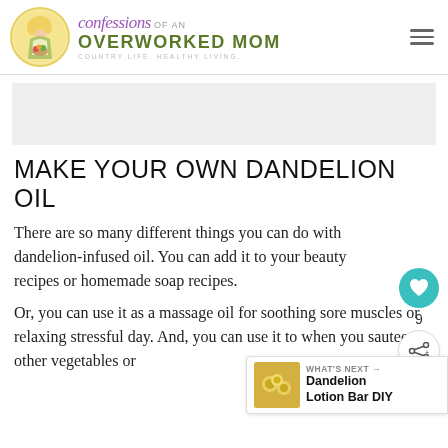confessions OF AN OVERWORKED MOM — COUNTRY LIFE. HEALTHY LIVING.
[Figure (other): Gray advertisement placeholder rectangle]
MAKE YOUR OWN DANDELION OIL
There are so many different things you can do with dandelion-infused oil. You can add it to your beauty recipes or homemade soap recipes.
Or, you can use it as a massage oil for soothing sore muscles or relaxing stressful day. And, you can use it to when you sautee other vegetables or